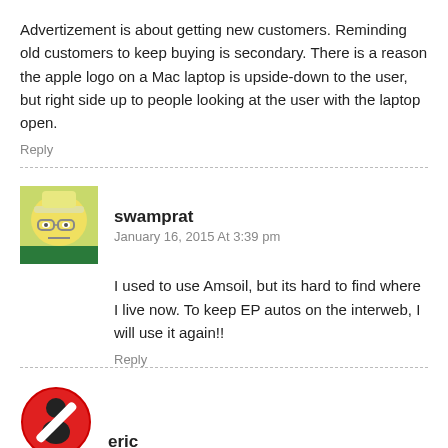Advertizement is about getting new customers. Reminding old customers to keep buying is secondary. There is a reason the apple logo on a Mac laptop is upside-down to the user, but right side up to people looking at the user with the laptop open.
Reply
swamprat
January 16, 2015 At 3:39 pm
I used to use Amsoil, but its hard to find where I live now. To keep EP autos on the interweb, I will use it again!!
Reply
eric